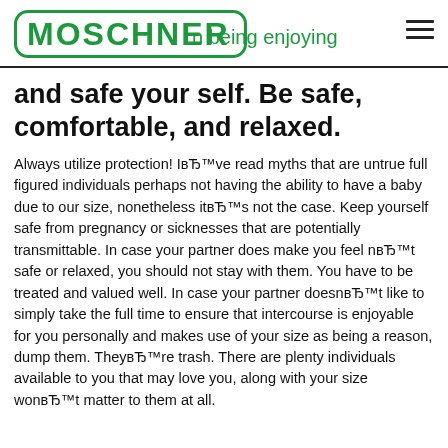MOSCHNER — being enjoying
and safe your self. Be safe, comfortable, and relaxed.
Always utilize protection! IвЂ™ve read myths that are untrue full figured individuals perhaps not having the ability to have a baby due to our size, nonetheless itвЂ™s not the case. Keep yourself safe from pregnancy or sicknesses that are potentially transmittable. In case your partner does make you feel nвЂ™t safe or relaxed, you should not stay with them. You have to be treated and valued well. In case your partner doesnвЂ™t like to simply take the full time to ensure that intercourse is enjoyable for you personally and makes use of your size as being a reason, dump them. TheyвЂ™re trash. There are plenty individuals available to you that may love you, along with your size wonвЂ™t matter to them at all.